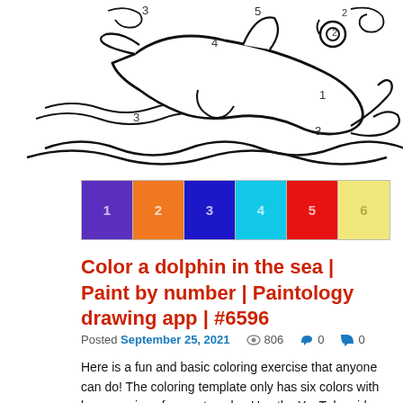[Figure (illustration): Paint by number coloring template of a dolphin in the sea with numbers 1-5 labeling different regions, shown in black and white line art with wave patterns]
[Figure (illustration): Color key showing six numbered swatches: 1=purple, 2=orange, 3=dark blue/cobalt, 4=cyan, 5=red, 6=yellow]
Color a dolphin in the sea | Paint by number | Paintology drawing app | #6596
Posted September 25, 2021   806   0   0
Here is a fun and basic coloring exercise that anyone can do! The coloring template only has six colors with larger regions for you to color. Use the YouTube video below to guide you on how to do this coloring on your Android phone or tablet. Template for the coloring exercise of the dolphin Anyone Read More